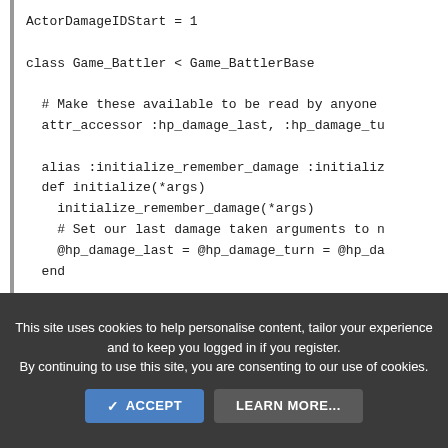ActorDamageIDStart = 1

class Game_Battler < Game_BattlerBase

  # Make these available to be read by anyone
  attr_accessor :hp_damage_last, :hp_damage_tu

  alias :initialize_remember_damage :initializ
  def initialize(*args)
    initialize_remember_damage(*args)
    # Set our last damage taken arguments to n
    @hp_damage_last = @hp_damage_turn = @hp_da
  end

  # When the battler takes damage remember tha
  alias :execute_damage_remember_damage :execu
  def execute_damage(user)
This site uses cookies to help personalise content, tailor your experience and to keep you logged in if you register. By continuing to use this site, you are consenting to our use of cookies.